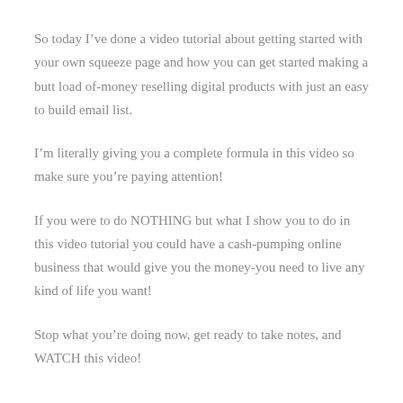So today I’ve done a video tutorial about getting started with your own squeeze page and how you can get started making a butt load of-money reselling digital products with just an easy to build email list.
I’m literally giving you a complete formula in this video so make sure you’re paying attention!
If you were to do NOTHING but what I show you to do in this video tutorial you could have a cash-pumping online business that would give you the money-you need to live any kind of life you want!
Stop what you’re doing now, get ready to take notes, and WATCH this video!